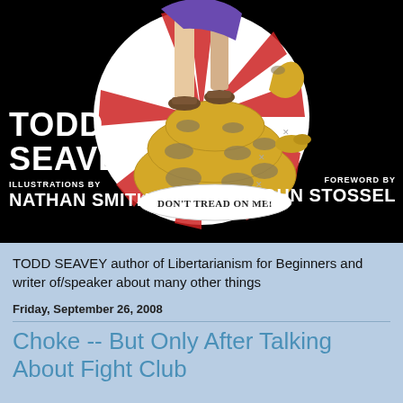[Figure (illustration): Book cover for 'Libertarianism for Beginners' by Todd Seavey with illustrations by Nathan Smith and foreword by John Stossel. Black background with circular illustration of a coiled rattlesnake with 'Don't Tread On Me' text and a person's sandaled feet standing on it, with red and white radiating stripes in background.]
TODD SEAVEY author of Libertarianism for Beginners and writer of/speaker about many other things
Friday, September 26, 2008
Choke -- But Only After Talking About Fight Club